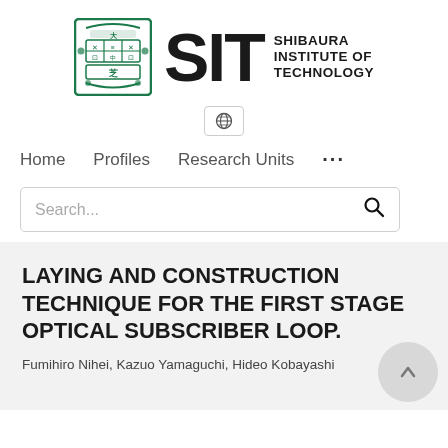[Figure (logo): Shibaura Institute of Technology logo with green crest emblem, 'SIT' in large bold black letters, and 'SHIBAURA INSTITUTE OF TECHNOLOGY' in bold black text to the right]
[Figure (other): Globe/language selector button icon in a small rounded rectangle]
Home   Profiles   Research Units   ...
Search...
LAYING AND CONSTRUCTION TECHNIQUE FOR THE FIRST STAGE OPTICAL SUBSCRIBER LOOP.
Fumihiro Nihei, Kazuo Yamaguchi, Hideo Kobayashi